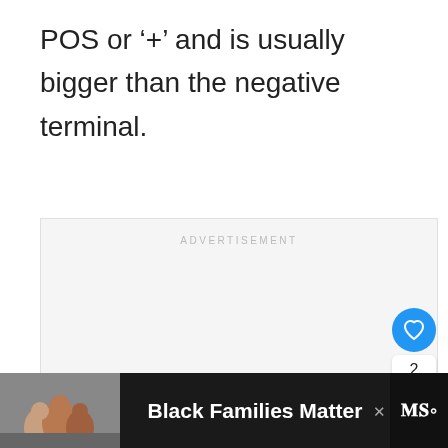POS or '+' and is usually bigger than the negative terminal.
[Figure (other): Advertisement placeholder box with 'ADVERTISEMENT' label in light gray]
[Figure (infographic): Social interaction panel: heart/like button (blue circle, count=2) and share button]
[Figure (other): What's Next panel: thumbnail image with label 'WHAT'S NEXT →' and title 'How To Change A C...']
[Figure (other): Bottom advertisement banner: dark background, family photo on left, text 'Black Families Matter', close button, logo on right]